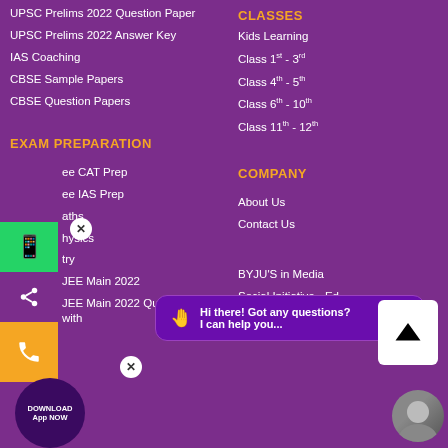UPSC Prelims 2022 Question Paper
UPSC Prelims 2022 Answer Key
IAS Coaching
CBSE Sample Papers
CBSE Question Papers
CLASSES
Kids Learning
Class 1st - 3rd
Class 4th - 5th
Class 6th - 10th
Class 11th - 12th
EXAM PREPARATION
Free CAT Prep
Free IAS Prep
Maths
Physics
Chemistry
JEE Main 2022
JEE Main 2022 Question Papers with
COMPANY
About Us
Contact Us
BYJU'S in Media
Social Initiative - Ed for All
BYJU'S APP
[Figure (screenshot): Chat bubble overlay: 'Hi there! Got any questions? I can help you...' with waving hand emoji. Scroll-to-top arrow button. WhatsApp green bar, share icon, phone bar, close buttons, download badge, avatar.]